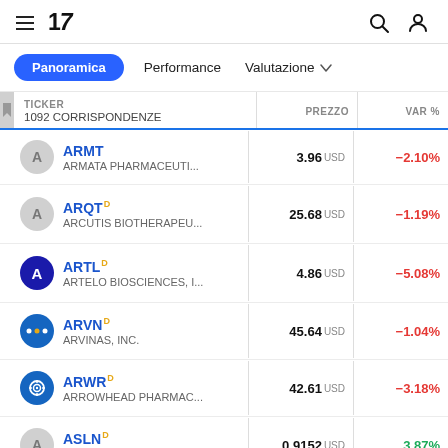TradingView — Panoramica | Performance | Valutazione
| TICKER / 1092 CORRISPONDENZE | PREZZO | VAR % |
| --- | --- | --- |
| ARMATA PHARMACEUTI... | 3.96 USD | −2.10% |
| ARQT D — ARCUTIS BIOTHERAPEU... | 25.68 USD | −1.19% |
| ARTL D — ARTELO BIOSCIENCES, I... | 4.86 USD | −5.08% |
| ARVN D — ARVINAS, INC. | 45.64 USD | −1.04% |
| ARWR D — ARROWHEAD PHARMAC... | 42.61 USD | −3.18% |
| ASLN D — ASLAN PHARMACEUTIC... | 0.9152 USD | 3.87% |